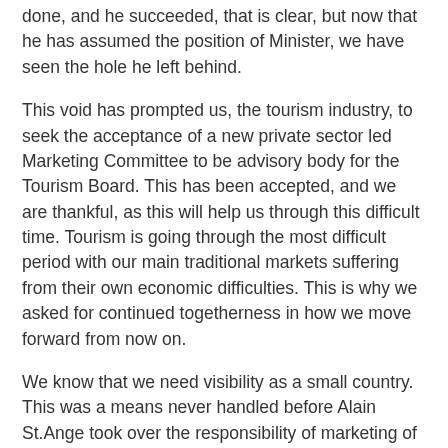done, and he succeeded, that is clear, but now that he has assumed the position of Minister, we have seen the hole he left behind.
This void has prompted us, the tourism industry, to seek the acceptance of a new private sector led Marketing Committee to be advisory body for the Tourism Board. This has been accepted, and we are thankful, as this will help us through this difficult time. Tourism is going through the most difficult period with our main traditional markets suffering from their own economic difficulties. This is why we asked for continued togetherness in how we move forward from now on.
We know that we need visibility as a small country. This was a means never handled before Alain St.Ange took over the responsibility of marketing of Seychelles. But visibility then became a necessity. Those of us who travel to trade fairs, and who conduct sales calls will appreciate how more talked about we are today, and how the tourism trade in all our key markets are today more updated on the Unique Selling Points of our Seychelles.
I am unsure if it is the Minister himself or the News Bureau of the Tourism Board who undertook this mammoth task, but their effort is paying off and their effort is working. This is where we now need to